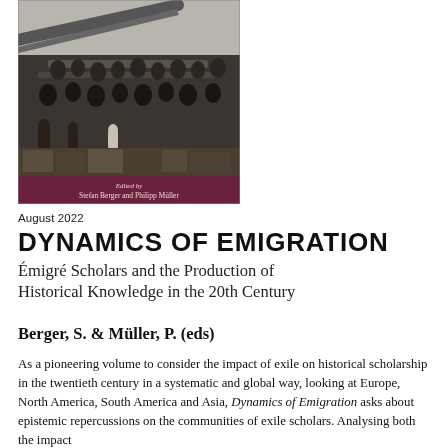[Figure (photo): Black and white historical photograph showing a crowd of people on what appears to be a ship deck or dock with luggage and equipment. A dark maroon banner at the bottom reads 'Edited by Stefan Berger and Philipp Müller'.]
August 2022
DYNAMICS OF EMIGRATION
Émigré Scholars and the Production of Historical Knowledge in the 20th Century
Berger, S. & Müller, P. (eds)
As a pioneering volume to consider the impact of exile on historical scholarship in the twentieth century in a systematic and global way, looking at Europe, North America, South America and Asia, Dynamics of Emigration asks about epistemic repercussions on the communities of exile scholars. Analysing both the impact